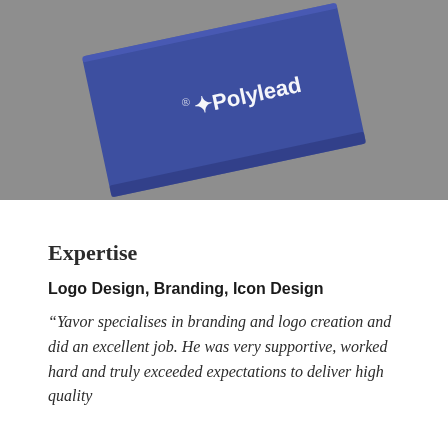[Figure (photo): A blue hardcover book/portfolio with the Polylead logo and wordmark in white, tilted at an angle on a gray surface.]
Expertise
Logo Design, Branding, Icon Design
“Yavor specialises in branding and logo creation and did an excellent job. He was very supportive, worked hard and truly exceeded expectations to deliver high quality